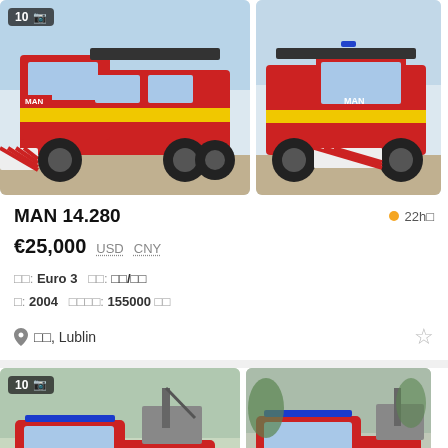[Figure (photo): Red MAN 14.280 fire truck (left side view), with yellow stripe and red-white chevron bumper, parked outdoors. Badge shows '10' photos.]
[Figure (photo): Red MAN 14.280 fire truck (front-right view), same vehicle, parked outdoors.]
MAN 14.280
22h
€25,000  USD  CNY
排放: Euro 3  变速: 自动/手动
年: 2004  行驶里程: 155000 公里
波兰, Lublin
[Figure (photo): Red pickup truck with blue lights and crane/equipment on roof, left side view.]
[Figure (photo): Red pickup truck with blue lights, slightly different angle.]